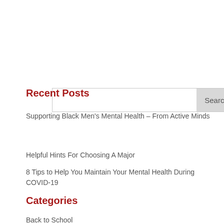[Figure (screenshot): Search input box with Search button on the right]
Recent Posts
Supporting Black Men's Mental Health – From Active Minds
Helpful Hints For Choosing A Major
8 Tips to Help You Maintain Your Mental Health During COVID-19
Categories
Back to School
CampusGeek